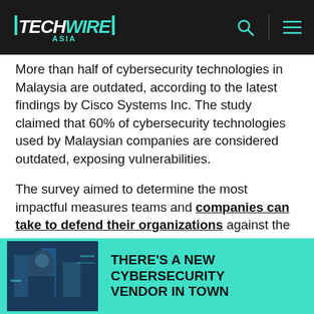TECHWIRE ASIA
More than half of cybersecurity technologies in Malaysia are outdated, according to the latest findings by Cisco Systems Inc. The study claimed that 60% of cybersecurity technologies used by Malaysian companies are considered outdated, exposing vulnerabilities.
The survey aimed to determine the most impactful measures teams and companies can take to defend their organizations against the evolving threat landscape.
THERE'S A NEW CYBERSECURITY VENDOR IN TOWN